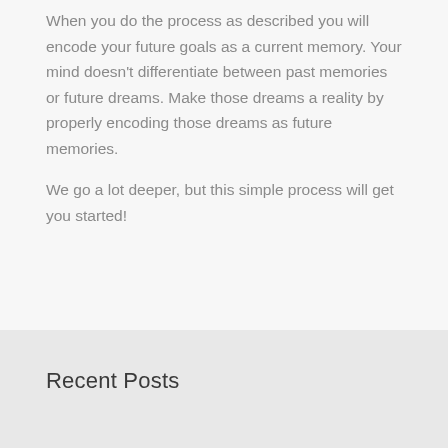When you do the process as described you will encode your future goals as a current memory. Your mind doesn't differentiate between past memories or future dreams. Make those dreams a reality by properly encoding those dreams as future memories.
We go a lot deeper, but this simple process will get you started!
Recent Posts